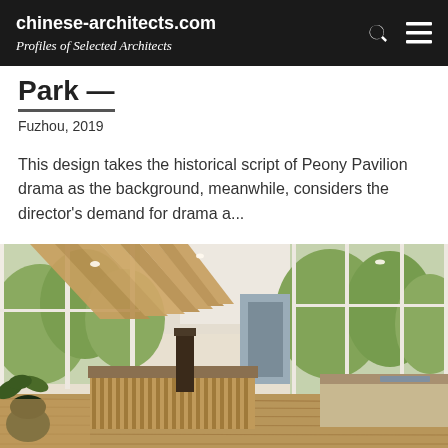chinese-architects.com Profiles of Selected Architects
Park —
Fuzhou, 2019
This design takes the historical script of Peony Pavilion drama as the background, meanwhile, considers the director's demand for drama a...
[Figure (photo): Interior photograph of a modern open-plan space with wooden ceiling slats/fins, floor-to-ceiling windows, lush green trees visible outside, a wooden island/counter, a tall dark sculptural vessel, a potted plant, and polished wood flooring.]